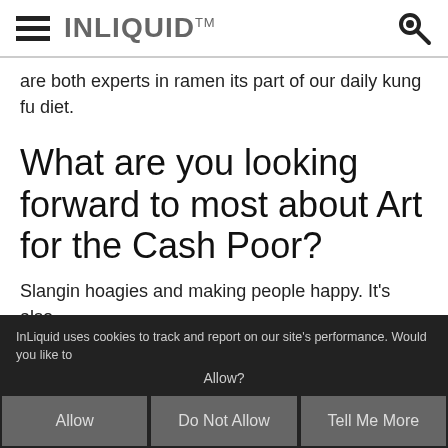INLIQUID™
are both experts in ramen its part of our daily kung fu diet.
What are you looking forward to most about Art for the Cash Poor?
Slangin hoagies and making people happy. It's also
InLiquid uses cookies to track and report on our site's performance. Would you like to Allow?
Allow
Do Not Allow
Tell Me More